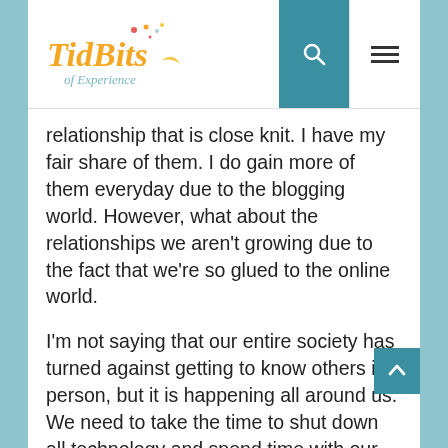TidBits of Experience
relationship that is close knit. I have my fair share of them. I do gain more of them everyday due to the blogging world. However, what about the relationships we aren't growing due to the fact that we're so glued to the online world.
I'm not saying that our entire society has turned against getting to know others in person, but it is happening all around us. We need to take the time to shut down all technology and spend time with our family. We will not always have those moments to do